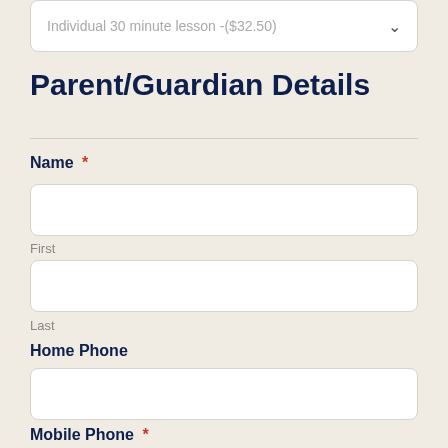Individual 30 minute lesson -($32.50)
Parent/Guardian Details
Name *
First
Last
Home Phone
Mobile Phone *